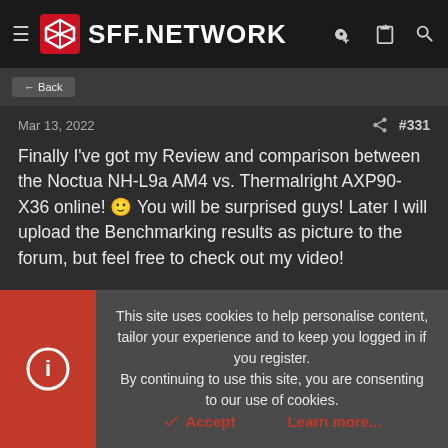SFF.NETWORK
Mar 13, 2022  #331
Finally I've got my Review and comparison between the Noctua NH-L9a AM4 vs. Thermalright AXP90-X36 online! You will be surprised guys! Later I will upload the Benchmarking results as picture to the forum, but feel free to check out my video!
[Figure (photo): Partial thumbnail of a video showing a person holding a Noctua NH-L9a chromax cooler box]
This site uses cookies to help personalise content, tailor your experience and to keep you logged in if you register. By continuing to use this site, you are consenting to our use of cookies.
Accept  Learn more...